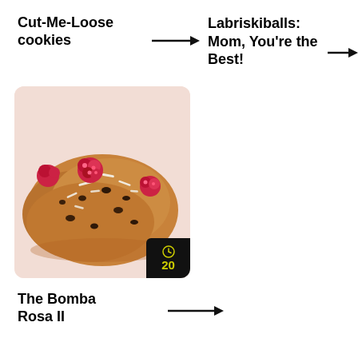Cut-Me-Loose cookies
Labriskiballs: Mom, You're the Best!
[Figure (photo): Oatmeal cookies topped with raspberries and shredded coconut, stacked on a light pink background, with a black time badge showing '20' in yellow]
The Bomba Rosa II